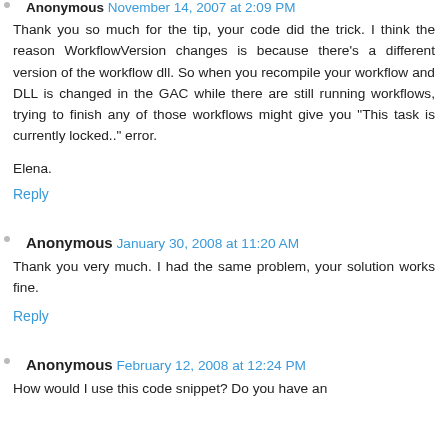Anonymous November 14, 2007 at 2:09 PM
Thank you so much for the tip, your code did the trick. I think the reason WorkflowVersion changes is because there's a different version of the workflow dll. So when you recompile your workflow and DLL is changed in the GAC while there are still running workflows, trying to finish any of those workflows might give you "This task is currently locked.." error.
Elena.
Reply
Anonymous January 30, 2008 at 11:20 AM
Thank you very much. I had the same problem, your solution works fine.
Reply
Anonymous February 12, 2008 at 12:24 PM
How would I use this code snippet? Do you have an